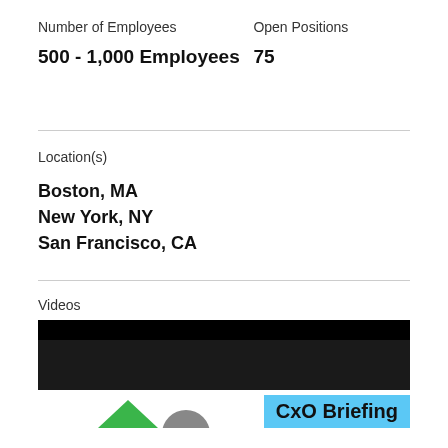Number of Employees
Open Positions
500 - 1,000 Employees
75
Location(s)
Boston, MA
New York, NY
San Francisco, CA
Videos
[Figure (screenshot): Video thumbnail showing a black bar at top and a CxO Briefing label in blue at bottom right, with partial logo graphics at the very bottom]